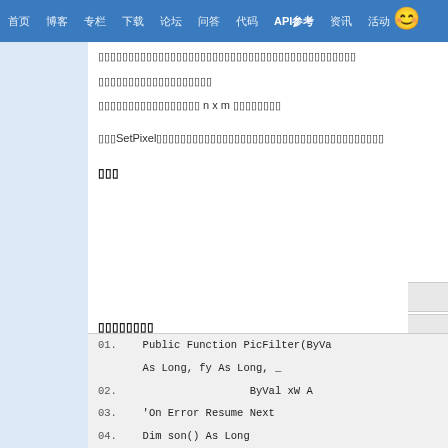首页 博客 专栏 下载 论坛 问答 代码 API参考 资讯 活动
（Chinese text — pixel array description line 1）
（Chinese text — pixel array description line 2）
（Chinese text — n x m pixel grid description）
（Chinese text — SetPixel function description）
代码块
参考链接
相关文章
01.  Public Function PicFilter(ByVa...
     As Long, fy As Long, _
02.                   ByVal xW A...
03.  'On Error Resume Next
04.  Dim son() As Long